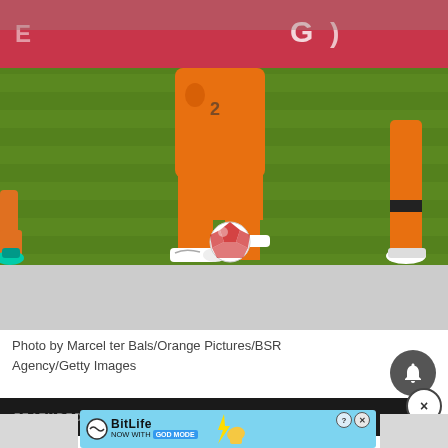[Figure (photo): Soccer players in orange Netherlands national team kits on a green grass pitch. A player in the center is running with a Nike soccer ball at his feet. Another player in orange is visible on the right. A player in teal shoes is visible at the left edge. Stadium red/pink advertising boards are visible in the background.]
Photo by Marcel ter Bals/Orange Pictures/BSR Agency/Getty Images
[Figure (screenshot): Gray advertisement placeholder area below the photo]
[Figure (screenshot): Dark curved featured video bar with text 'FEATURED VIDEO' and a circular X close button on the right]
[Figure (screenshot): BitLife advertisement banner with light blue background. Shows BitLife logo with circle and wavy line, text 'NOW WITH GOD MODE' with lightning bolt, hand/thumbs up illustration, and close/help buttons in top right corner]